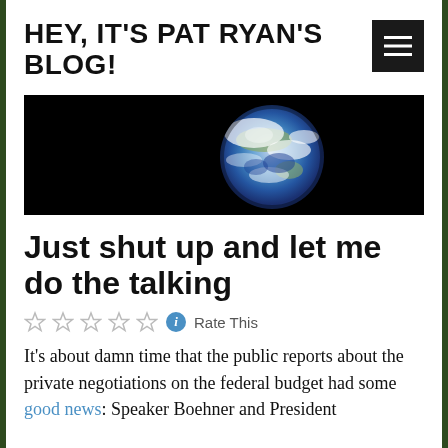HEY, IT'S PAT RYAN'S BLOG!
[Figure (photo): Earthrise photo showing Earth as seen from space against a black background — the famous 'Earthrise' image.]
Just shut up and let me do the talking
☆☆☆☆☆ ⓘ Rate This
It's about damn time that the public reports about the private negotiations on the federal budget had some good news: Speaker Boehner and President